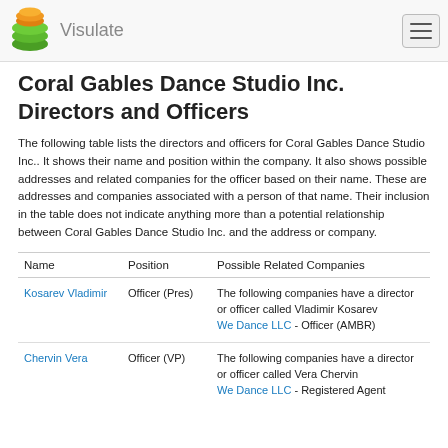Visulate
Coral Gables Dance Studio Inc. Directors and Officers
The following table lists the directors and officers for Coral Gables Dance Studio Inc.. It shows their name and position within the company. It also shows possible addresses and related companies for the officer based on their name. These are addresses and companies associated with a person of that name. Their inclusion in the table does not indicate anything more than a potential relationship between Coral Gables Dance Studio Inc. and the address or company.
| Name | Position | Possible Related Companies |
| --- | --- | --- |
| Kosarev Vladimir | Officer (Pres) | The following companies have a director or officer called Vladimir Kosarev
We Dance LLC - Officer (AMBR) |
| Chervin Vera | Officer (VP) | The following companies have a director or officer called Vera Chervin
We Dance LLC - Registered Agent |